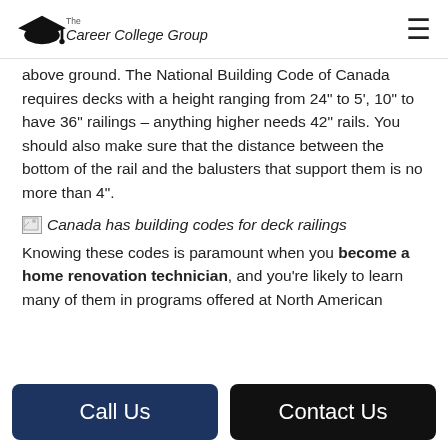The Career College Group
above ground. The National Building Code of Canada requires decks with a height ranging from 24" to 5', 10" to have 36" railings – anything higher needs 42" rails. You should also make sure that the distance between the bottom of the rail and the balusters that support them is no more than 4".
[Figure (photo): Broken image placeholder for 'become a home renovation technician-3']
Canada has building codes for deck railings
Knowing these codes is paramount when you become a home renovation technician, and you're likely to learn many of them in programs offered at North American